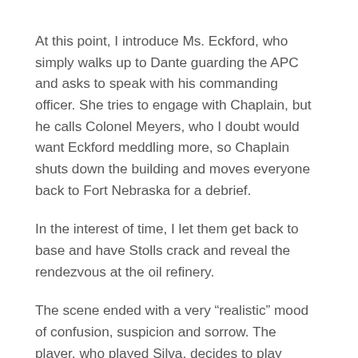At this point, I introduce Ms. Eckford, who simply walks up to Dante guarding the APC and asks to speak with his commanding officer. She tries to engage with Chaplain, but he calls Colonel Meyers, who I doubt would want Eckford meddling more, so Chaplain shuts down the building and moves everyone back to Fort Nebraska for a debrief.
In the interest of time, I let them get back to base and have Stolls crack and reveal the rendezvous at the oil refinery.
The scene ended with a very “realistic” mood of confusion, suspicion and sorrow. The player, who played Silva, decides to play Gunnery Sergeant Mason, instead.